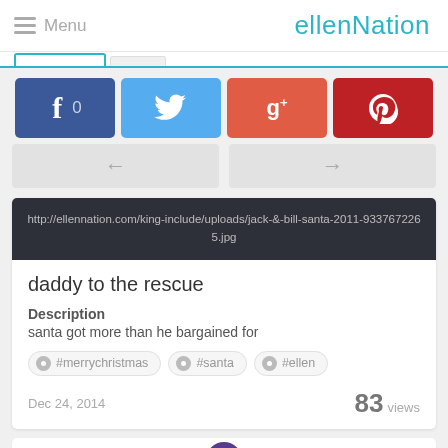Menu  ellenNation
[Figure (screenshot): Social share buttons: Facebook (0), Twitter, Google+, Pinterest]
[Figure (screenshot): Navigation arrows: left arrow button and right arrow button]
[Figure (screenshot): Dark image URL bar: http://ellennation.com/king-include/uploads/jack-&-bill-santa-2011-9337672265.jpg]
daddy to the rescue
Description
santa got more than he bargained for
#merrychristmas
#santa
#ellen
Dec 24, 2014   83 views